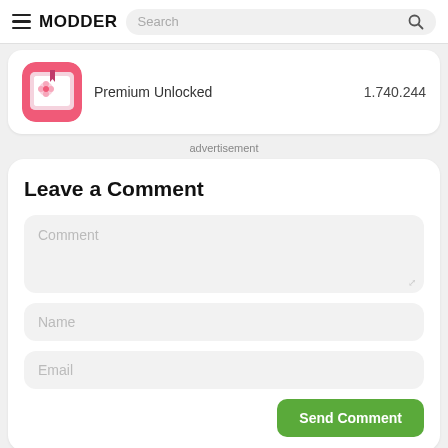MODDER | Search
Premium Unlocked  1.740.244
advertisement
Leave a Comment
Comment
Name
Email
Send Comment